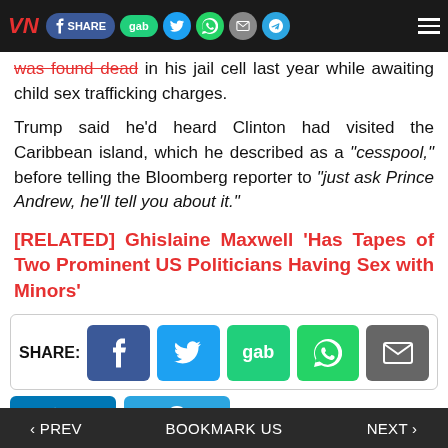VN [navbar with share buttons: Facebook SHARE, gab, Twitter, WhatsApp, Email, Telegram, hamburger menu]
was found dead in his jail cell last year while awaiting child sex trafficking charges.
Trump said he'd heard Clinton had visited the Caribbean island, which he described as a "cesspool," before telling the Bloomberg reporter to "just ask Prince Andrew, he'll tell you about it."
[RELATED] Ghislaine Maxwell 'Has Tapes of Two Prominent US Politicians Having Sex with Minors'
SHARE: [Facebook, Twitter, gab, WhatsApp, Email buttons]
‹ PREV   BOOKMARK US   NEXT ›